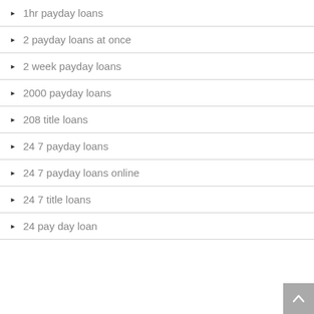1hr payday loans
2 payday loans at once
2 week payday loans
2000 payday loans
208 title loans
24 7 payday loans
24 7 payday loans online
24 7 title loans
24 pay day loan